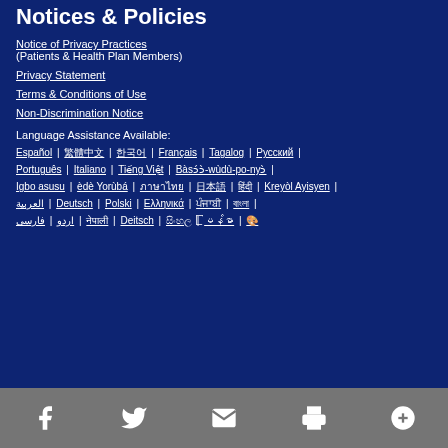Notices & Policies
Notice of Privacy Practices (Patients & Health Plan Members)
Privacy Statement
Terms & Conditions of Use
Non-Discrimination Notice
Language Assistance Available:
Español | [Chinese] | [Chinese] | Français | Tagalog | Русский | Português | Italiano | Tiếng Việt | Bàsɔ́ɔ̀-wùdù-po-nyɔ̀ | Igbo asusu | èdè Yorùbá | [script] | [script] | [script] | Kreyòl Ayisyen | العربية | Deutsch | Polski | Ελληνικά | [script] | [script] | اردو | فارسی | [script] | Deitsch | [script] | မြန်မာ | [icon]
Social icons: Facebook, Twitter, Email, Print, Plus